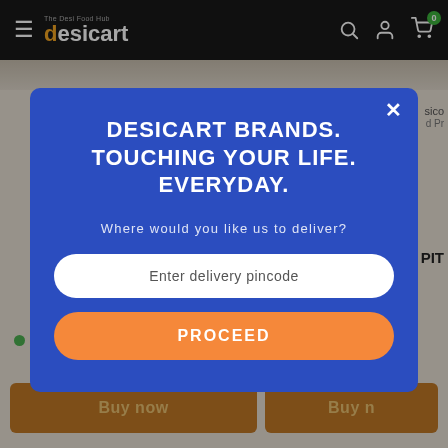desicart - The Desi Food Hub
[Figure (screenshot): Desicart e-commerce website page with product listings partially visible in background]
DESICART BRANDS. TOUCHING YOUR LIFE. EVERYDAY.
Where would you like us to deliver?
Enter delivery pincode
PROCEED
In stock
Buy now
Buy n